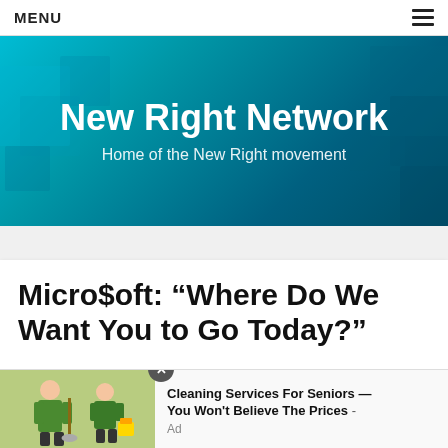MENU
[Figure (illustration): Hero banner with teal/blue gradient background and geometric cube decorations. Bold white text reads 'New Right Network' with subtitle 'Home of the New Right movement'.]
Micro$oft: “Where Do We Want You to Go Today?”
[Figure (photo): Advertisement banner showing cleaning service workers in green uniforms. Text reads: 'Cleaning Services For Seniors — You Won't Believe The Prices - Ad']